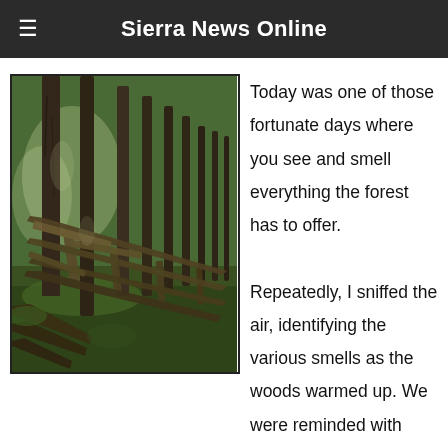Sierra News Online
[Figure (photo): A forest scene with tall pine trees and a weathered wooden split-rail fence running diagonally along a grassy path]
Today was one of those fortunate days where you see and smell everything the forest has to offer. Repeatedly, I sniffed the air, identifying the various smells as the woods warmed up. We were reminded with every step how lucky we are to live in in a gateway community close to Yosemite.
My sharp-eyed husband spotted a doe and then two fawns, who ran